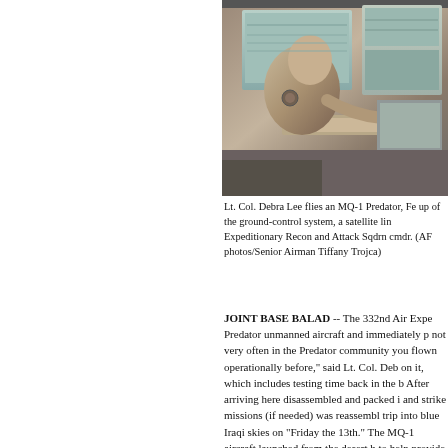[Figure (photo): A military officer (Lt. Col. Debra Lee) working at a ground-control station with computer screens and keyboard visible, operating an MQ-1 Predator unmanned aircraft system.]
Lt. Col. Debra Lee flies an MQ-1 Predator, Fe... up of the ground-control system, a satellite lin... Expeditionary Recon and Attack Sqdrn cmdr. (AF photos/Senior Airman Tiffany Trojca)
JOINT BASE BALAD -- The 332nd Air Expe... Predator unmanned aircraft and immediately p... not very often in the Predator community you... flown operationally before," said Lt. Col. Deb... on it, which includes testing time back in the b... After arriving here disassembled and packed i... and strike missions (if needed) was reassembl... trip into blue Iraqi skies on "Friday the 13th."... The MQ-1 aircraft launched from the desert b... to help provide overwatch and security for U.... Colonel Lee and sensor operator Senior Airma... each other while working a multitude of butto... Day in and day out, the Predator mission cont... preflight the plane, which includes getting all... and come into one of our ground-control stati... significant data we need to control it locally,"... information then we'll get in touch with our la... checks to make sure the airplane is airworthy...